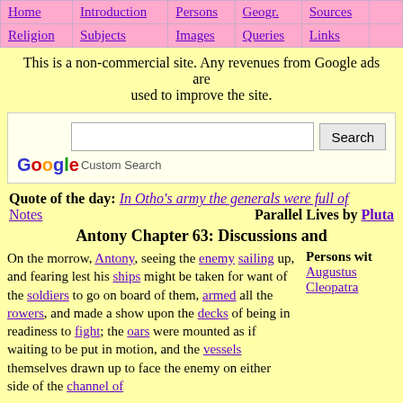| Home | Introduction | Persons | Geogr. | Sources |  |
| --- | --- | --- | --- | --- | --- |
| Religion | Subjects | Images | Queries | Links |  |
This is a non-commercial site. Any revenues from Google ads are used to improve the site.
[Figure (screenshot): Google Custom Search box with text input and Search button]
Quote of the day: In Otho's army the generals were full of Notes   Parallel Lives by Pluta
Antony Chapter 63: Discussions and
On the morrow, Antony, seeing the enemy sailing up, and fearing lest his ships might be taken for want of the soldiers to go on board of them, armed all the rowers, and made a show upon the decks of being in readiness to fight; the oars were mounted as if waiting to be put in motion, and the vessels themselves drawn up to face the enemy on either side of the channel of
Persons with: Augustus Cleopatra